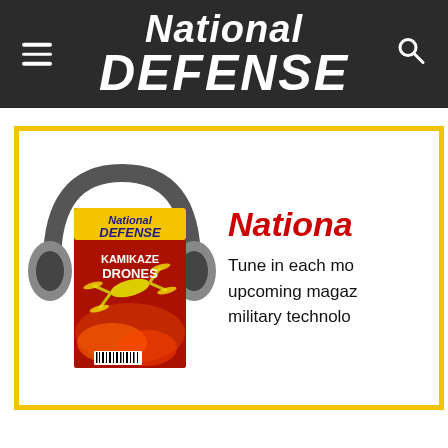National Defense
[Figure (illustration): National Defense magazine cover featuring 'KAMIKAZE DRONES' headline with a drone illustration, overlaid with large headphones graphic, inside a yellow-bordered promotional box]
Nationa
Tune in each mo... upcoming magaz... military technolo...